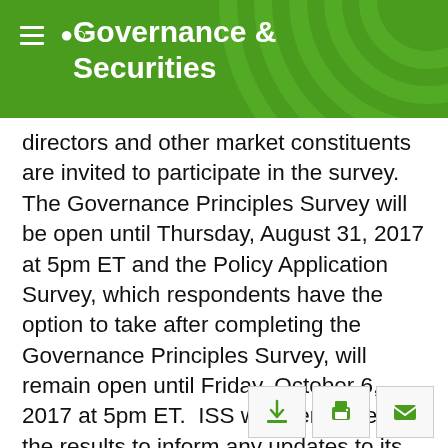Governance & Securities
directors and other market constituents are invited to participate in the survey.  The Governance Principles Survey will be open until Thursday, August 31, 2017 at 5pm ET and the Policy Application Survey, which respondents have the option to take after completing the Governance Principles Survey, will remain open until Friday, October 6, 2017 at 5pm ET.  ISS will then review the results to inform any updates to its policies ahead of 2018 annual shareholder meetings. The survey can be accessed here.
Below is a description of the five issues on which ISS is seeking input in the Governance Principles Survey.